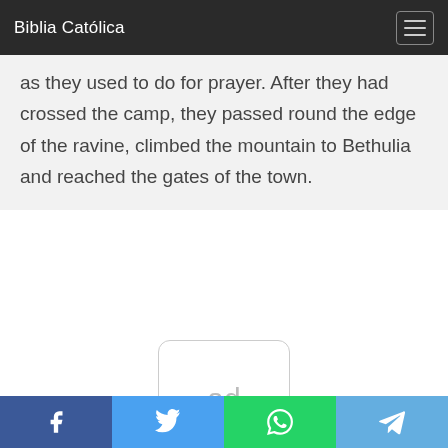Biblia Católica
as they used to do for prayer. After they had crossed the camp, they passed round the edge of the ravine, climbed the mountain to Bethulia and reached the gates of the town.
[Figure (other): Ad placeholder box with text 'ad' in light gray, rounded rectangle border]
Social share bar: Facebook, Twitter, WhatsApp, Telegram